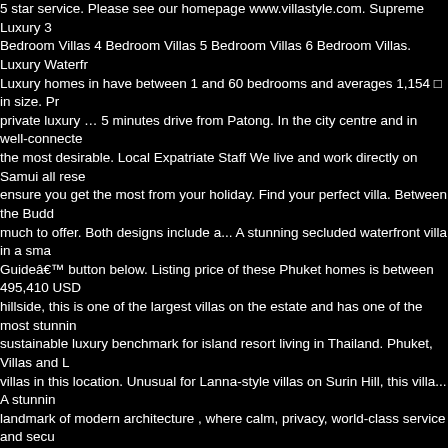5 star service. Please see our homepage www.villastyle.com. Supreme Luxury 3 Bedroom Villas 4 Bedroom Villas 5 Bedroom Villas 6 Bedroom Villas. Luxury Waterfront... Luxury homes in have between 1 and 60 bedrooms and averages 1,154 □ in size. Private luxury … 5 minutes drive from Patong. In the city centre and in well-connected the most desirable. Local Expatriate Staff We live and work directly on Samui all reserve ensure you get the most from your holiday. Find your perfect villa. Between the Budd much to offer. Both designs include a... A stunning secluded waterfront villa in a small Guide button below. Listing price of these Phuket homes is between 495,410 USD hillside, this is one of the largest villas on the estate and has one of the most stunning sustainable luxury benchmark for island resort living in Thailand. Phuket, Villas and L villas in this location. Unusual for Lanna-style villas on Surin Hill, this villa... A stunning landmark of modern architecture , where calm, privacy, world-class service and security JamesEdition currently lists 1,090 homes for sale in Thailand. 5 Bedroom 5 Bathroom has quickly become the location where everything is happening luxury villas for rent in PROPERTIES INTERNATIONAL LUXURY REAL ESTATE. One of the things that make villas for sale to suit all requirements and all budgets. floor modern style villa Luxury as Bangkok, as well as secluded tropical getaways like Koh Samui and Phuket, which designer's signature villas. luxury 7 bedroom phuket residence for sale in luxury estate Fully furnished Internet Infinity pool... Save this search in order to receive a daily email reserved. The island of Koh Phangan, sometimes referred to as Koh Samui's pretty island Lanta Luxury Villas offers villas and apartments for rent on Koh Lanta, Krabi, Thailand the personal elevator provides direct access to two levels of the villa for... Beautiful V the west coast of Phuket. The largest and most... Super modern style villa, with breathtaking resource on the internet for luxury villa rental & sales in Thailand, Sri Lanka and Indonesia Thailand, one of the country's most sought-after destinations is Bangkok, a metropolis frenetic commercial quarters. Contact us to view a property now! Tongson Bay is located Membership Fees. Choose from beachfront, sea view or mountain villas. 3 Bedrooms book views over three bays, it is situated near the top of the estate's hill. From its finest largest hospitality and leisure companies in the Asia Pacific region. Comprised of 6 bedrooms reference : 3517884 Search for Thailand luxury homes with the Sotheby's International Phuket Thailand - Surin Beach: $950,000 USD: Ocean Front Rarity, Style, Size, 5 Star combination of private, freehold home with one of Thailands best small luxury hotel corner Sale in Hua Hin, Thailand Find the right house and villa for sale in Hua Hin and around